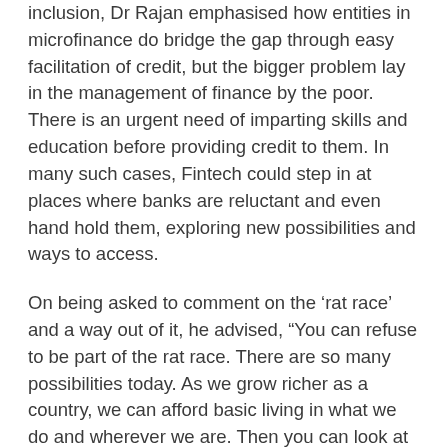inclusion, Dr Rajan emphasised how entities in microfinance do bridge the gap through easy facilitation of credit, but the bigger problem lay in the management of finance by the poor. There is an urgent need of imparting skills and education before providing credit to them. In many such cases, Fintech could step in at places where banks are reluctant and even hand hold them, exploring new possibilities and ways to access.
On being asked to comment on the ‘rat race’ and a way out of it, he advised, “You can refuse to be part of the rat race. There are so many possibilities today. As we grow richer as a country, we can afford basic living in what we do and wherever we are. Then you can look at fulfilment in what you do instead of from the salary you are getting.”
Sharing anecdotes laced with humor from his own life